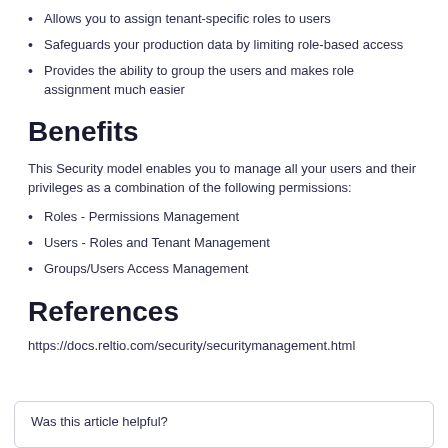Allows you to assign tenant-specific roles to users
Safeguards your production data by limiting role-based access
Provides the ability to group the users and makes role assignment much easier
Benefits
This Security model enables you to manage all your users and their privileges as a combination of the following permissions:
Roles - Permissions Management
Users - Roles and Tenant Management
Groups/Users Access Management
References
https://docs.reltio.com/security/securitymanagement.html
Was this article helpful?